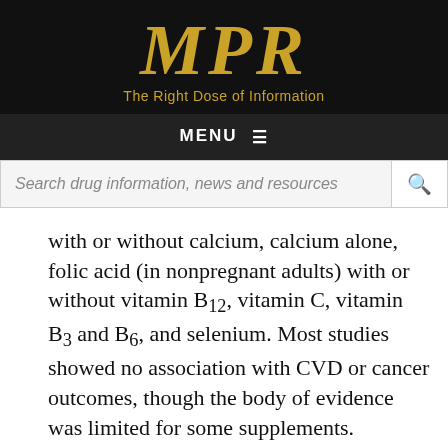MPR — The Right Dose of Information
with or without calcium, calcium alone, folic acid (in nonpregnant adults) with or without vitamin B12, vitamin C, vitamin B3 and B6, and selenium. Most studies showed no association with CVD or cancer outcomes, though the body of evidence was limited for some supplements.
For most supplements, there was little to no evidence of serious harms.
“We all want ways to prevent heart disease, stroke, and